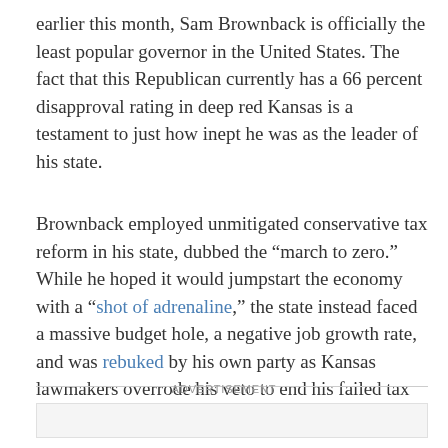earlier this month, Sam Brownback is officially the least popular governor in the United States. The fact that this Republican currently has a 66 percent disapproval rating in deep red Kansas is a testament to just how inept he was as the leader of his state.
Brownback employed unmitigated conservative tax reform in his state, dubbed the “march to zero.” While he hoped it would jumpstart the economy with a “shot of adrenaline,” the state instead faced a massive budget hole, a negative job growth rate, and was rebuked by his own party as Kansas lawmakers overrode his veto to end his failed tax cut experiment.
ADVERTISEMENT